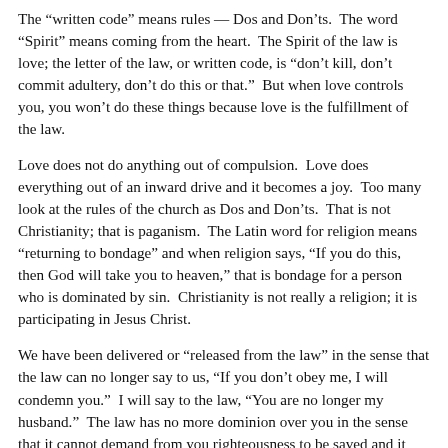The “written code” means rules — Dos and Don’ts.  The word “Spirit” means coming from the heart.  The Spirit of the law is love; the letter of the law, or written code, is “don’t kill, don’t commit adultery, don’t do this or that.”  But when love controls you, you won’t do these things because love is the fulfillment of the law.
Love does not do anything out of compulsion.  Love does everything out of an inward drive and it becomes a joy.  Too many look at the rules of the church as Dos and Don’ts.  That is not Christianity; that is paganism.  The Latin word for religion means “returning to bondage” and when religion says, “If you do this, then God will take you to heaven,” that is bondage for a person who is dominated by sin.  Christianity is not really a religion; it is participating in Jesus Christ.
We have been delivered or “released from the law” in the sense that the law can no longer say to us, “If you don’t obey me, I will condemn you.”  I will say to the law, “You are no longer my husband.”  The law has no more dominion over you in the sense that it cannot demand from you righteousness to be saved and it cannot condemn you every time you fall.
But remember, Christ did not deliver you from under the law and leave you alone.  He delivered you from under law that you may be